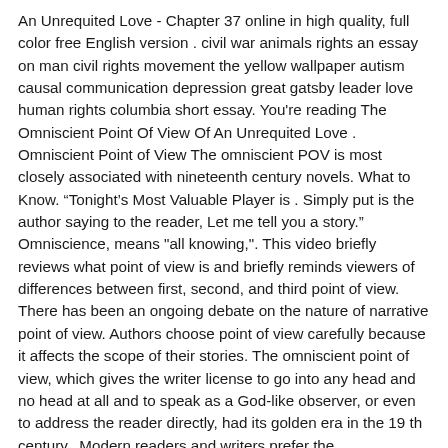An Unrequited Love - Chapter 37 online in high quality, full color free English version . civil war animals rights an essay on man civil rights movement the yellow wallpaper autism causal communication depression great gatsby leader love human rights columbia short essay. You're reading The Omniscient Point Of View Of An Unrequited Love . Omniscient Point of View The omniscient POV is most closely associated with nineteenth century novels. What to Know. “Tonight’s Most Valuable Player is . Simply put is the author saying to the reader, Let me tell you a story.” Omniscience, means "all knowing,". This video briefly reviews what point of view is and briefly reminds viewers of differences between first, second, and third point of view. There has been an ongoing debate on the nature of narrative point of view. Authors choose point of view carefully because it affects the scope of their stories. The omniscient point of view, which gives the writer license to go into any head and no head at all and to speak as a God-like observer, or even to address the reader directly, had its golden era in the 19 th century.. Modern readers and writers prefer the